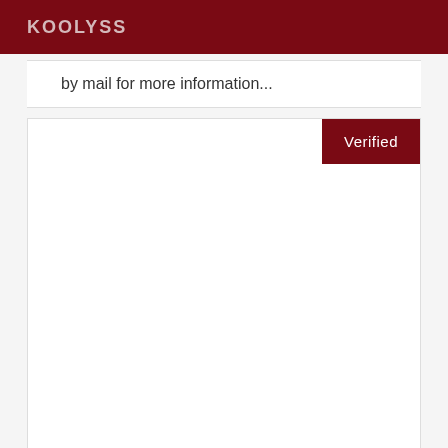KOOLYSS
by mail for more information...
[Figure (screenshot): A white card/panel area with a dark red 'Verified' button in the top-right corner]